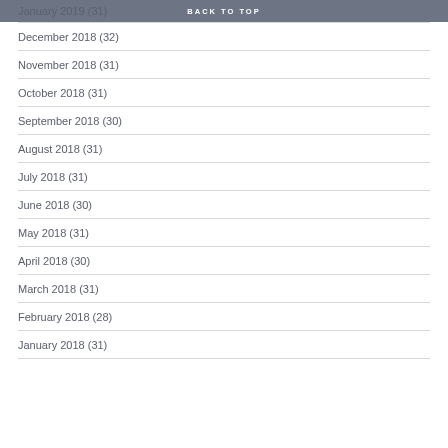BACK TO TOP
January 2019 (31)
December 2018 (32)
November 2018 (31)
October 2018 (31)
September 2018 (30)
August 2018 (31)
July 2018 (31)
June 2018 (30)
May 2018 (31)
April 2018 (30)
March 2018 (31)
February 2018 (28)
January 2018 (31)